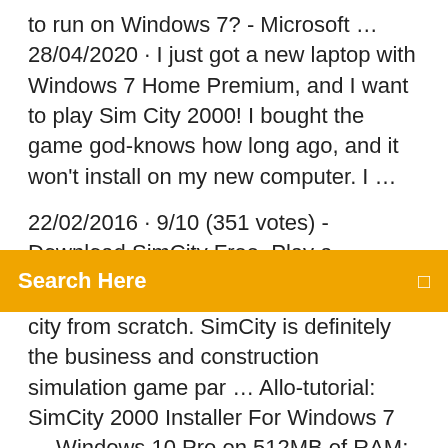to run on Windows 7? - Microsoft … 28/04/2020 · I just got a new laptop with Windows 7 Home Premium, and I want to play Sim City 2000! I bought the game god-knows how long ago, and it won't install on my new computer. I …
22/02/2016 · 9/10 (351 votes) - Download SimCity Free. Play a
Search Here
city from scratch. SimCity is definitely the business and construction simulation game par … Allo-tutorial: SimCity 2000 Installer For Windows 7 … Windows 10 Pro on 512MB of RAM; come lanciare diablo 1 on windows 10; Windows 7 Ultimate vs Windows 98 SE; Runing Pentium 4 1,5 GHz S423 Willamette Mobo; Pentium 4 Willamette Running Windows 98 Second Edi How to Run Mac OS X in VirtualBox on Windows; How to virtualize XP on Mac OS X; SimCity 2000 Installer For Windows 7 and Windows 8 SimCity 2000 FAQs, Walkthroughs, and Guides for… Simcity 2000 is the first Simcity game to use on isometric